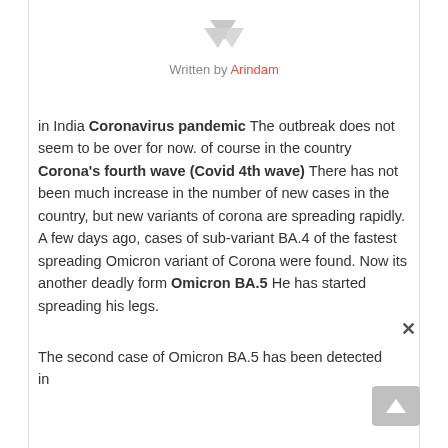[Figure (illustration): Author avatar icon — two overlapping grey downward-pointing triangles/chevrons forming a user silhouette]
Written by Arindam
in India Coronavirus pandemic The outbreak does not seem to be over for now. of course in the country Corona's fourth wave (Covid 4th wave) There has not been much increase in the number of new cases in the country, but new variants of corona are spreading rapidly. A few days ago, cases of sub-variant BA.4 of the fastest spreading Omicron variant of Corona were found. Now its another deadly form Omicron BA.5 He has started spreading his legs.
The second case of Omicron BA.5 has been detected in